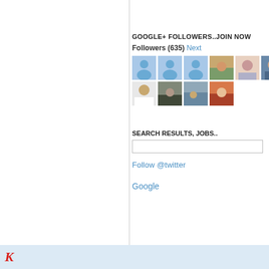GOOGLE+ FOLLOWERS..JOIN NOW
Followers (635) Next
[Figure (other): Grid of follower avatars - 3 default blue placeholder avatars and 3 profile photos in top row, 4 profile photos in bottom row]
SEARCH RESULTS, JOBS..
[Figure (other): Search input text box]
Follow @twitter
Google
[Figure (logo): Partial red italic logo text at bottom of page]